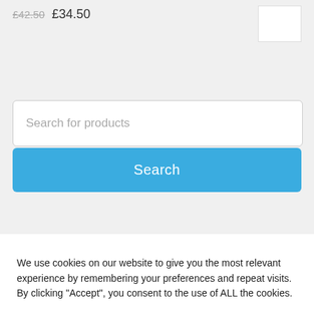£42.50 £34.50
Search for products
Search
We use cookies on our website to give you the most relevant experience by remembering your preferences and repeat visits. By clicking "Accept", you consent to the use of ALL the cookies.
Cookie settings
ACCEPT